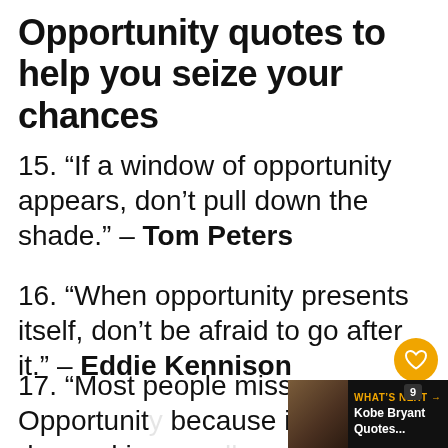Opportunity quotes to help you seize your chances
15. “If a window of opportunity appears, don’t pull down the shade.” – Tom Peters
16. “When opportunity presents itself, don’t be afraid to go after it.” – Eddie Kennison
17. “Most people miss Opportunity because it is dressed in overalls and looks like work.” – Thomas A.